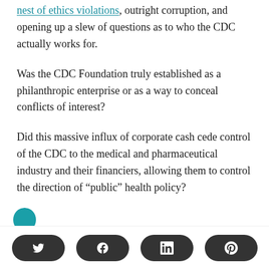nest of ethics violations, outright corruption, and opening up a slew of questions as to who the CDC actually works for.
Was the CDC Foundation truly established as a philanthropic enterprise or as a way to conceal conflicts of interest?
Did this massive influx of corporate cash cede control of the CDC to the medical and pharmaceutical industry and their financiers, allowing them to control the direction of “public” health policy?
[Figure (other): Social sharing buttons for Twitter, Facebook, LinkedIn, and Pinterest on a dark rounded pill background]